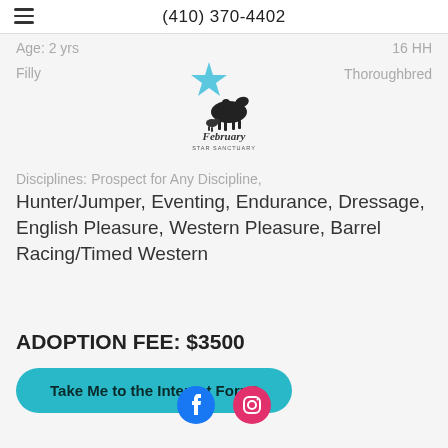(410) 370-4402
Age: 2 yrs    16 HH
Filly    Thoroughbred
[Figure (logo): February Star Sanctuary logo — silhouette of horse with rider and a blue star, text 'February STAR SANCTUARY']
Disciplines:  Prospect for Any Discipline, Hunter/Jumper, Eventing, Endurance, Dressage, English Pleasure, Western Pleasure, Barrel Racing/Timed Western
ADOPTION FEE: $3500
Take Me to the Interest Form!
[Figure (other): Facebook and Instagram social media icons at page bottom]